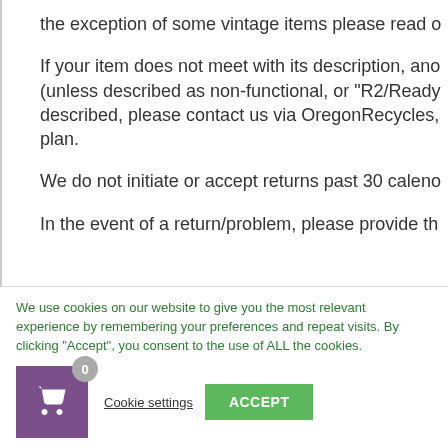the exception of some vintage items please read o...
If your item does not meet with its description, and... (unless described as non-functional, or "R2/Ready... described, please contact us via OregonRecycles,... plan.
We do not initiate or accept returns past 30 calend...
In the event of a return/problem, please provide th...
We use cookies on our website to give you the most relevant experience by remembering your preferences and repeat visits. By clicking "Accept", you consent to the use of ALL the cookies.
Cookie settings   ACCEPT